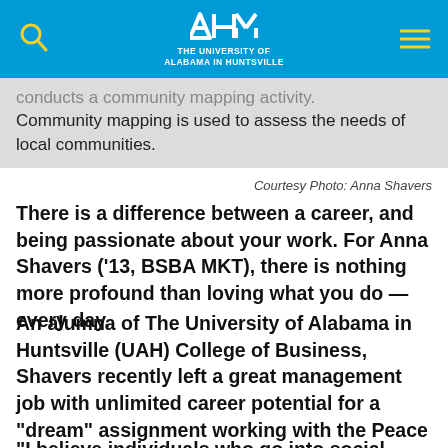The University of Alabama in Huntsville
conducts a community mapping activity. Community mapping is used to assess the needs of local communities.
Courtesy Photo: Anna Shavers
There is a difference between a career, and being passionate about your work. For Anna Shavers (’13, BSBA MKT), there is nothing more profound than loving what you do — every day.
An alumna of The University of Alabama in Huntsville (UAH) College of Business, Shavers recently left a great management job with unlimited career potential for a "dream" assignment working with the Peace Corps in South Africa.
"I believe individuals who go into social service